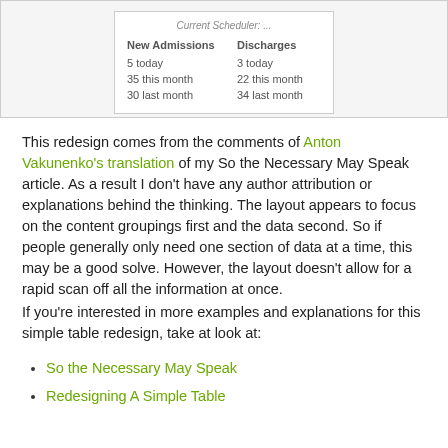[Figure (screenshot): Screenshot of a hospital census table with Current Scheduler label and two columns: New Admissions and Discharges, showing today/this month/last month stats]
| New Admissions | Discharges |
| --- | --- |
| 5 today | 3 today |
| 35 this month | 22 this month |
| 30 last month | 34 last month |
This redesign comes from the comments of Anton Vakunenko's translation of my So the Necessary May Speak article. As a result I don't have any author attribution or explanations behind the thinking. The layout appears to focus on the content groupings first and the data second. So if people generally only need one section of data at a time, this may be a good solve. However, the layout doesn't allow for a rapid scan off all the information at once.
If you're interested in more examples and explanations for this simple table redesign, take at look at:
So the Necessary May Speak
Redesigning A Simple Table